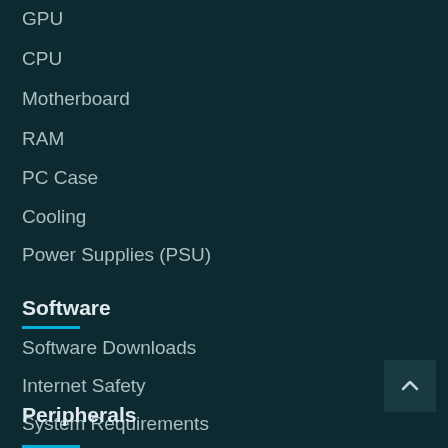GPU
CPU
Motherboard
RAM
PC Case
Cooling
Power Supplies (PSU)
Software
Software Downloads
Internet Safety
System Requirements
Peripherals